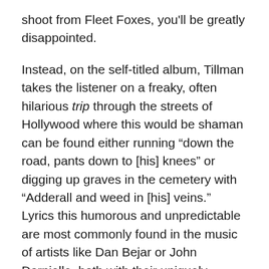shoot from Fleet Foxes, you'll be greatly disappointed.
Instead, on the self-titled album, Tillman takes the listener on a freaky, often hilarious trip through the streets of Hollywood where this would be shaman can be found either running “down the road, pants down to [his] knees” or digging up graves in the cemetery with “Adderall and weed in [his] veins.”  Lyrics this humorous and unpredictable are most commonly found in the music of artists like Dan Bejar or John Darnielle, both with their uniquely strange vocal stylings. Yet Tillman doesn’t let the beauty of his voice hold him back from singing about such strange topics as “the truly staggering amount of oil that it takes to make a record” or telling stories of when “John the Baptist took Jesus Christ Down to the river on a Friday night; they talked about Mary like a couple of boys.” While he couldn’t be associated his association with Fleet...